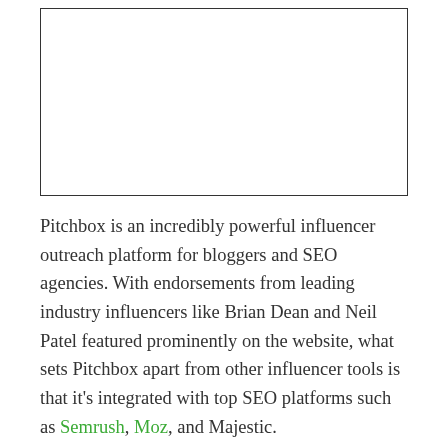[Figure (other): Empty bordered rectangle placeholder for an image]
Pitchbox is an incredibly powerful influencer outreach platform for bloggers and SEO agencies. With endorsements from leading industry influencers like Brian Dean and Neil Patel featured prominently on the website, what sets Pitchbox apart from other influencer tools is that it's integrated with top SEO platforms such as Semrush, Moz, and Majestic.